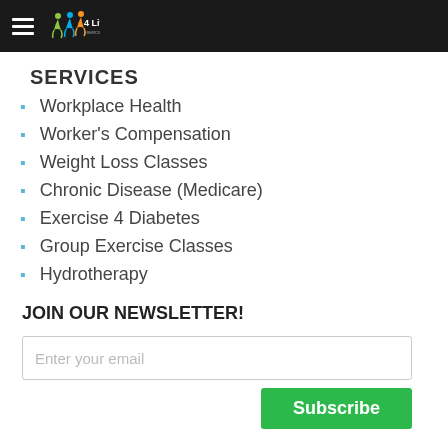4 Life Exercise Physiology
SERVICES
Workplace Health
Worker's Compensation
Weight Loss Classes
Chronic Disease (Medicare)
Exercise 4 Diabetes
Group Exercise Classes
Hydrotherapy
JOIN OUR NEWSLETTER!
Enter your email
Subscribe